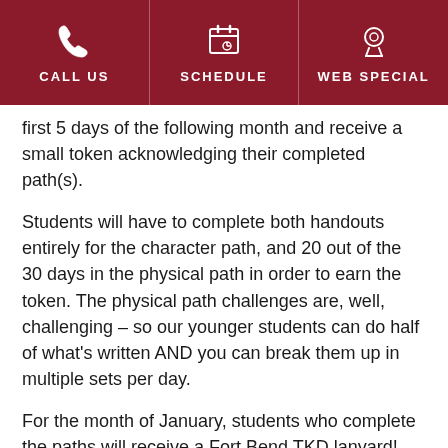CALL US | SCHEDULE | WEB SPECIAL
first 5 days of the following month and receive a small token acknowledging their completed path(s).
Students will have to complete both handouts entirely for the character path, and 20 out of the 30 days in the physical path in order to earn the token. The physical path challenges are, well, challenging – so our younger students can do half of what's written AND you can break them up in multiple sets per day.
For the month of January, students who complete the paths will receive a Fort Bend TKD lanyard!
Students who complete all of the challenges for all 6 months of the first session (January through June) will be entered into a drawing to win a Nintendo Switch!